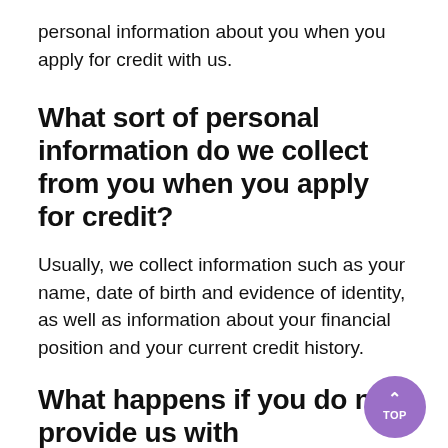personal information about you when you apply for credit with us.
What sort of personal information do we collect from you when you apply for credit?
Usually, we collect information such as your name, date of birth and evidence of identity, as well as information about your financial position and your current credit history.
What happens if you do not provide us with information?